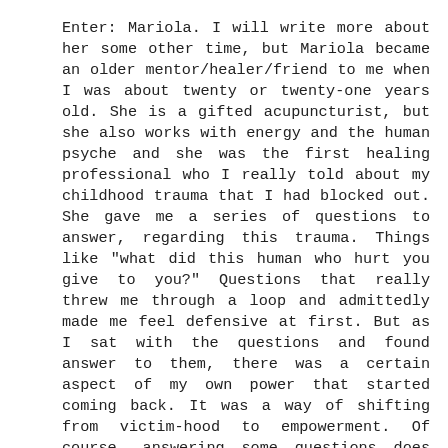Enter: Mariola. I will write more about her some other time, but Mariola became an older mentor/healer/friend to me when I was about twenty or twenty-one years old. She is a gifted acupuncturist, but she also works with energy and the human psyche and she was the first healing professional who I really told about my childhood trauma that I had blocked out. She gave me a series of questions to answer, regarding this trauma. Things like "what did this human who hurt you give to you?" Questions that really threw me through a loop and admittedly made me feel defensive at first. But as I sat with the questions and found answer to them, there was a certain aspect of my own power that started coming back. It was a way of shifting from victim-hood to empowerment. Of course, answering some questions does not fully heal such a trauma, but it began the wheel of healing to gain some inertia, and during the next few years, more and more healing occurred.